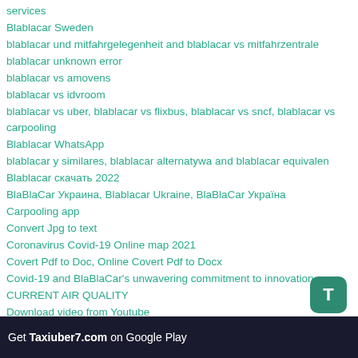services
Blablacar Sweden
blablacar und mitfahrgelegenheit and blablacar vs mitfahrzentrale
blablacar unknown error
blablacar vs amovens
blablacar vs idvroom
blablacar vs uber, blablacar vs flixbus, blablacar vs sncf, blablacar vs carpooling
Blablacar WhatsApp
blablacar y similares, blablacar alternatywa and blablacar equivalent
Blablacar скачать 2022
BlaBlaCar Украина, Blablacar Ukraine, BlaBlaCar Україна
Carpooling app
Convert Jpg to text
Coronavirus Covid-19 Online map 2021
Covert Pdf to Doc, Online Covert Pdf to Docx
Covid-19 and BlaBlaCar's unwavering commitment to innovation
CURRENT AIR QUALITY
Download video from Youtube
Getcontact Premium Mod APK download
happy birthday 2020, Ad gunu sekilleri 2020, Toy sekilleri 2020, С днем рождения 2020, toy şəkilləri 2020, ad günü şəkilləri 2020, wedding dresses 2020, wedding crashers, wedding wishes messages, wedding rings, sets 2020, wedding congratulations message, elegant wedding guest dresses, wedding
Get Taxiuber7.com on Google Play